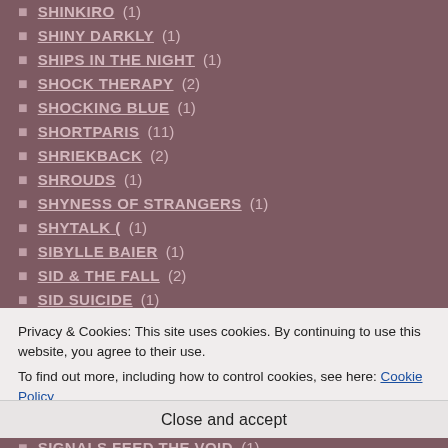SHINKIRO (1)
SHINY DARKLY (1)
SHIPS IN THE NIGHT (1)
SHOCK THERAPY (2)
SHOCKING BLUE (1)
SHORTPARIS (11)
SHRIEKBACK (2)
SHROUDS (1)
SHYNESS OF STRANGERS (1)
SHYTALK ( (1)
SIBYLLE BAIER (1)
SID & THE FALL (2)
SID SUICIDE (1)
SIDA (1)
SIEBEN (9)
Privacy & Cookies: This site uses cookies. By continuing to use this website, you agree to their use. To find out more, including how to control cookies, see here: Cookie Policy
Close and accept
SIGNALS FEED THE VOID (1)